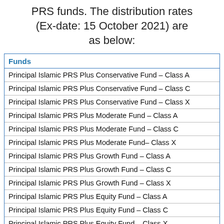PRS funds. The distribution rates (Ex-date: 15 October 2021) are as below:
| Funds |
| --- |
| Principal Islamic PRS Plus Conservative Fund – Class A |
| Principal Islamic PRS Plus Conservative Fund – Class C |
| Principal Islamic PRS Plus Conservative Fund – Class X |
| Principal Islamic PRS Plus Moderate Fund – Class A |
| Principal Islamic PRS Plus Moderate Fund – Class C |
| Principal Islamic PRS Plus Moderate Fund– Class X |
| Principal Islamic PRS Plus Growth Fund – Class A |
| Principal Islamic PRS Plus Growth Fund – Class C |
| Principal Islamic PRS Plus Growth Fund – Class X |
| Principal Islamic PRS Plus Equity Fund – Class A |
| Principal Islamic PRS Plus Equity Fund – Class C |
| Principal Islamic PRS Plus Equity Fund – Class X |
| Principal Islamic PRS Plus Asia Pacific Ex-Japan Equity |
| Principal Islamic PRS Plus Asia Pacific Ex-Japan Equity |